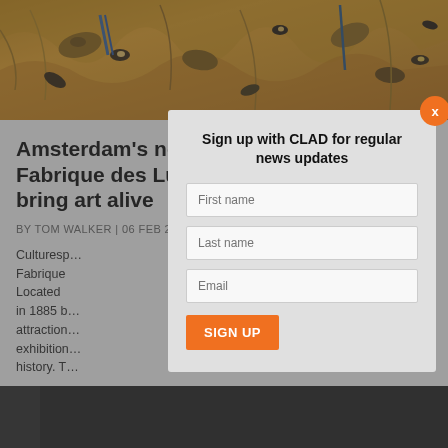[Figure (illustration): Decorative painting image in warm golden-orange tones with swirling patterns, birds, and abstract shapes in the style of Van Gogh or Klimt]
Amsterdam's new digital art centre Fabrique des Lumières will use tech to bring art alive
BY TOM WALKER | 06 FEB 2022
Culturesp... Fabrique... 2022. Located... – built in 1885 b... ultural attraction... ersive exhibition... in art history. T...
[Figure (screenshot): Modal popup dialog overlaying the article: 'Sign up with CLAD for regular news updates' with First name, Last name, Email fields and SIGN UP button. Orange X close button in top right corner.]
[Figure (photo): Dark bottom strip image, appears to be an exhibition or venue photo]